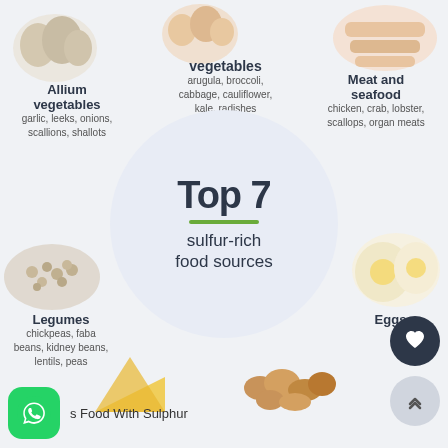[Figure (infographic): Top 7 sulfur-rich food sources infographic showing: cruciferous vegetables (arugula, broccoli, cabbage, cauliflower, kale, radishes), Allium vegetables (garlic, leeks, onions, scallions, shallots), Meat and seafood (chicken, crab, lobster, scallops, organ meats), Legumes (chickpeas, faba beans, kidney beans, lentils, peas), Eggs, dairy/cheese, nuts, arranged around a central circle with the title Top 7 sulfur-rich food sources]
Food With Sulphur